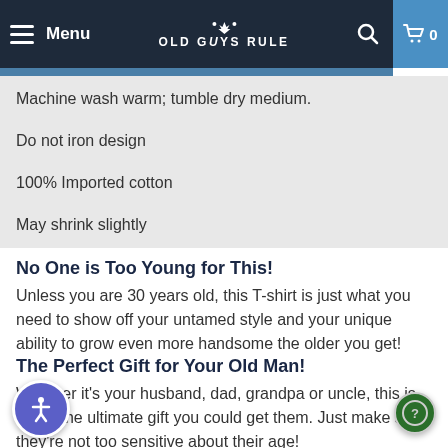Menu | OLD GUYS RULE | 0
Machine wash warm; tumble dry medium.
Do not iron design
100% Imported cotton
May shrink slightly
No One is Too Young for This!
Unless you are 30 years old, this T-shirt is just what you need to show off your untamed style and your unique ability to grow even more handsome the older you get!
The Perfect Gift for Your Old Man!
Whether it's your husband, dad, grandpa or uncle, this is by far the ultimate gift you could get them. Just make sure they're not too sensitive about their age!